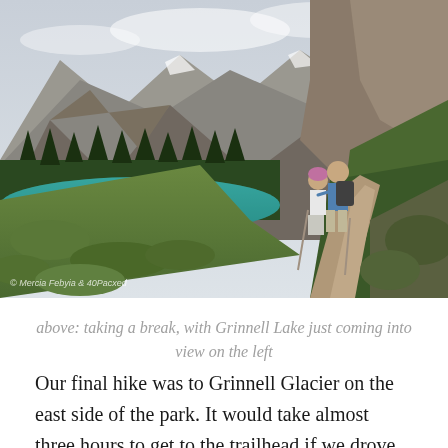[Figure (photo): Two hikers (a couple) standing on a mountain trail smiling, with Grinnell Lake (turquoise) visible below on the left, surrounded by dense forest and dramatic rocky mountain peaks partially covered by clouds and snow. A watermark reads: © Mercia Febyia & 40Pacxed]
above: taking a break, with Grinnell Lake just coming into view on the left
Our final hike was to Grinnell Glacier on the east side of the park. It would take almost three hours to get to the trailhead if we drove from West Glacier, so instead we packed up Rover and drove around the park to a